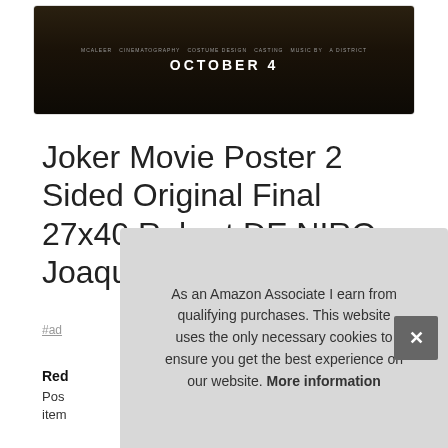[Figure (photo): Dark movie poster image for Joker showing 'OCTOBER 4' text on a dark brownish-black background with faint text credits along the top]
Joker Movie Poster 2 Sided Original Final 27x40 Robert DE NIRO Joaquin Phoenix
#ad
Red
Pos
item
As an Amazon Associate I earn from qualifying purchases. This website uses the only necessary cookies to ensure you get the best experience on our website. More information